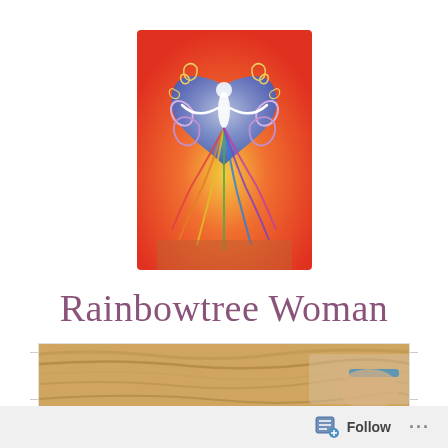[Figure (logo): Colorful spiritual illustration of a tree-woman figure with a heart shape, swirls, and rainbow colors — the Rainbowtree Woman site logo]
Rainbowtree Woman
≡ MENU
CATEGORY: SOUL WORK
[Figure (photo): Partial photo showing the top of a person's head with blond hair, appearing to be writing or drawing with a pencil, cropped at bottom of page]
Follow ...